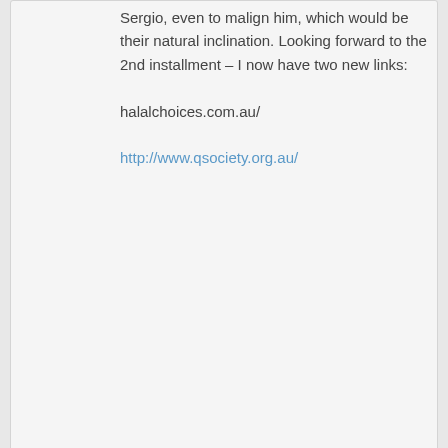Sergio, even to malign him, which would be their natural inclination. Looking forward to the 2nd installment – I now have two new links:

halalchoices.com.au/

http://www.qsociety.org.au/
Reply ↓
vladtepesblog on March 19, 2013 at 11:22 pm said:
I have a youtube HD 720p version if